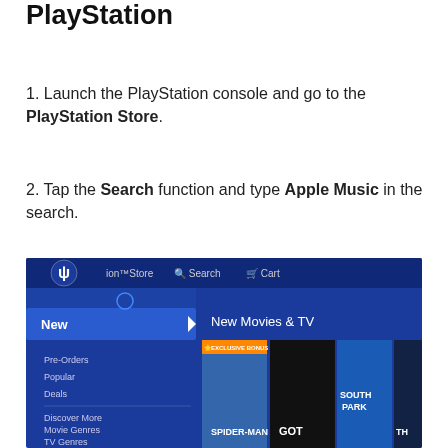How to Install Apple Music on PlayStation
1. Launch the PlayStation console and go to the PlayStation Store.
2. Tap the Search function and type Apple Music in the search.
[Figure (screenshot): Screenshot of the PlayStation Store interface showing the navigation menu with New Movies & TV section, and movie/TV show thumbnails including Spider-Man, Game of Thrones (GOT), South Park, and Thor]